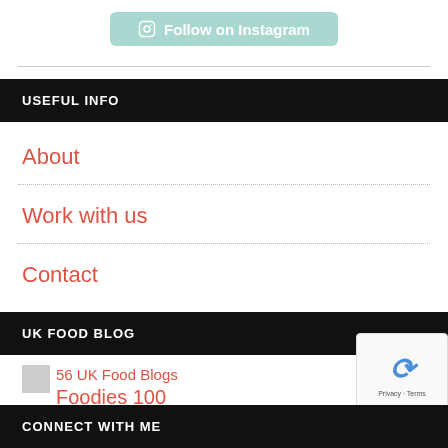[Figure (other): Follow on Instagram button with teal background and Instagram icon]
USEFUL INFO
About
Work with us
Contact
UK FOOD BLOG
56 UK Food Blogs
Foodies 100
CONNECT WITH ME